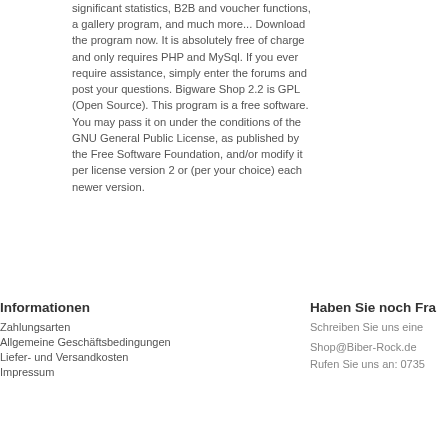significant statistics, B2B and voucher functions, a gallery program, and much more... Download the program now. It is absolutely free of charge and only requires PHP and MySql. If you ever require assistance, simply enter the forums and post your questions. Bigware Shop 2.2 is GPL (Open Source). This program is a free software. You may pass it on under the conditions of the GNU General Public License, as published by the Free Software Foundation, and/or modify it per license version 2 or (per your choice) each newer version.
Informationen
Zahlungsarten
Allgemeine Geschäftsbedingungen
Liefer- und Versandkosten
Impressum
Haben Sie noch Fra
Schreiben Sie uns eine
Shop@Biber-Rock.de
Rufen Sie uns an: 0735